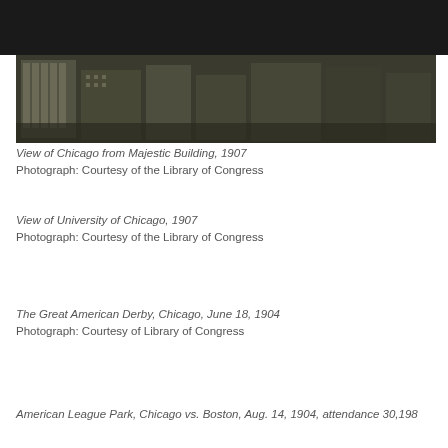[Figure (photo): Panoramic aerial view of Chicago from the Majestic Building, 1907, sepia-toned black and white photograph showing city buildings and streets from above]
View of Chicago from Majestic Building, 1907
Photograph: Courtesy of the Library of Congress
View of University of Chicago, 1907
Photograph: Courtesy of the Library of Congress
The Great American Derby, Chicago, June 18, 1904
Photograph: Courtesy of Library of Congress
American League Park, Chicago vs. Boston, Aug. 14, 1904, attendance 30,198